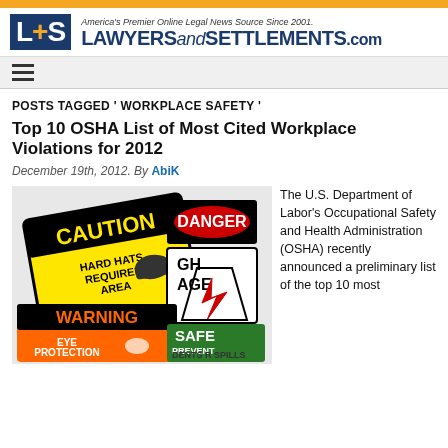[Figure (logo): L+S LawyersandSettlements.com logo with orange bar and tagline]
POSTS TAGGED ' WORKPLACE SAFETY '
Top 10 OSHA List of Most Cited Workplace Violations for 2012
December 19th, 2012. By AbiK
[Figure (photo): Safety warning signs including CAUTION Hard Hats Required Area, DANGER, WARNING Eye Protection Area, SAFE Prevent Accidents Spills]
The U.S. Department of Labor's Occupational Safety and Health Administration (OSHA) recently announced a preliminary list of the top 10 most